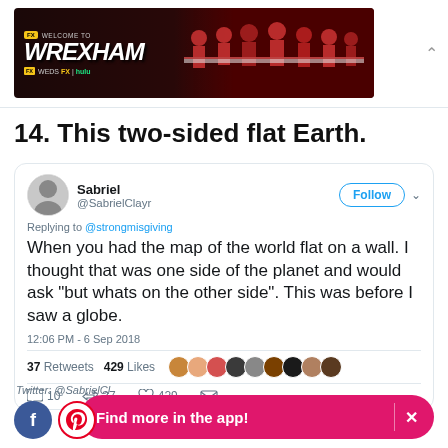[Figure (illustration): Welcome to Wrexham TV show advertisement banner — FX/Hulu, Weds FX | hulu]
14. This two-sided flat Earth.
[Figure (screenshot): Tweet by @SabrielClayr replying to @strongmisgiving: When you had the map of the world flat on a wall. I thought that was one side of the planet and would ask "but whats on the other side". This was before I saw a globe. 12:06 PM - 6 Sep 2018. 37 Retweets 429 Likes. Actions: 10 replies, 37 retweets, 429 likes. Twitter: @SabrielCl]
Find more in the app!